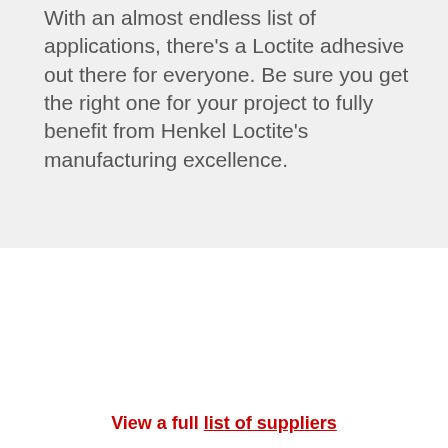With an almost endless list of applications, there's a Loctite adhesive out there for everyone. Be sure you get the right one for your project to fully benefit from Henkel Loctite's manufacturing excellence.
[Figure (logo): Henkel logo (red oval with Henkel text) above LOCTITE logo in red italic bold text]
[Figure (logo): JBC logo in large red bold text with 'The Soldering Co.' subtitle in gray]
View a full list of suppliers